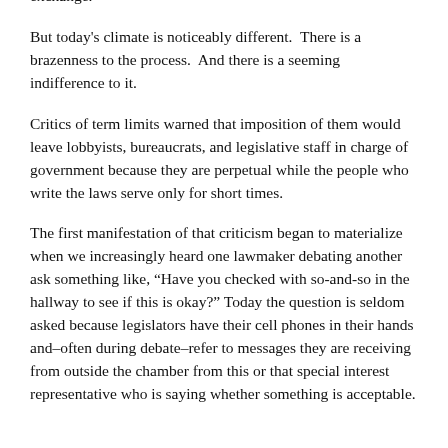always been made.  Favors have always been available for exchange.
But today's climate is noticeably different.  There is a brazenness to the process.  And there is a seeming indifference to it.
Critics of term limits warned that imposition of them would leave lobbyists, bureaucrats, and legislative staff in charge of government because they are perpetual while the people who write the laws serve only for short times.
The first manifestation of that criticism began to materialize when we increasingly heard one lawmaker debating another ask something like, “Have you checked with so-and-so in the hallway to see if this is okay?” Today the question is seldom asked because legislators have their cell phones in their hands and–often during debate–refer to messages they are receiving from outside the chamber from this or that special interest representative who is saying whether something is acceptable.